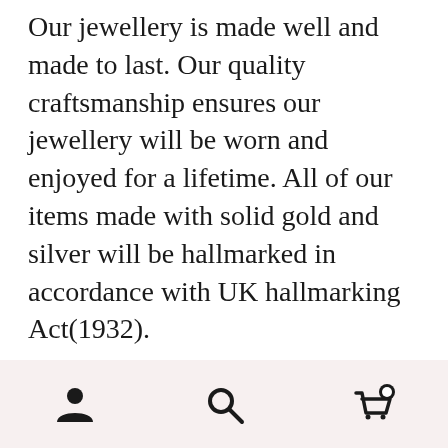Our jewellery is made well and made to last. Our quality craftsmanship ensures our jewellery will be worn and enjoyed for a lifetime. All of our items made with solid gold and silver will be hallmarked in accordance with UK hallmarking Act(1932).
We work with a wide range of materials including 18K and 9K gold, 925 sterling silver, and stainless steel, and are continuously creating new designs and trying new techniques.
[navigation bar with user, search, and cart icons]